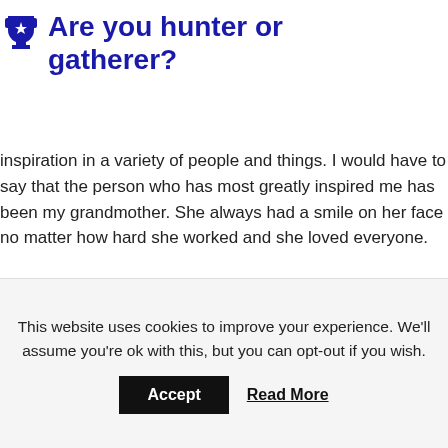Are you hunter or gatherer?
inspiration in a variety of people and things. I would have to say that the person who has most greatly inspired me has been my grandmother. She always had a smile on her face no matter how hard she worked and she loved everyone.
What should you not ask at the end of an interview?
This website uses cookies to improve your experience. We'll assume you're ok with this, but you can opt-out if you wish.